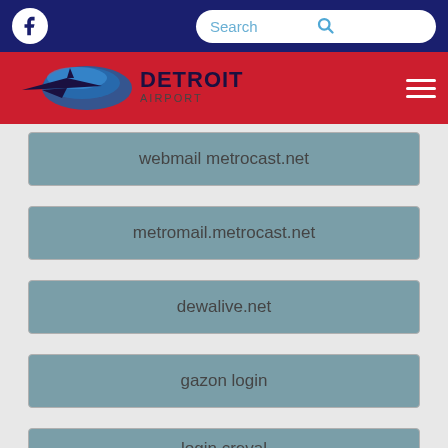Facebook icon | Search bar
[Figure (logo): Detroit Airport logo with airplane silhouette and red/blue wave graphic on red background]
webmail metrocast.net
metromail.metrocast.net
dewalive.net
gazon login
login creval